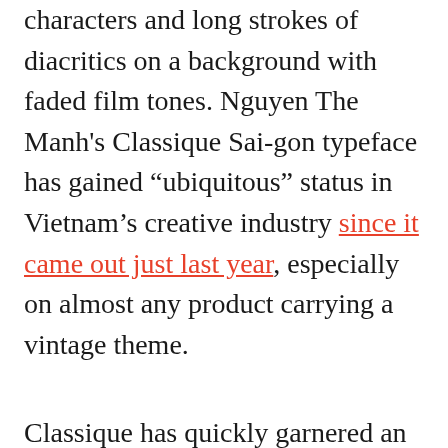characters and long strokes of diacritics on a background with faded film tones. Nguyen The Manh's Classique Sai-gon typeface has gained “ubiquitous” status in Vietnam’s creative industry since it came out just last year, especially on almost any product carrying a vintage theme.
Classique has quickly garnered an avid following thanks to its universal appeal and nostalgic tinge. However, not many are aware that Manh is also the creative mind